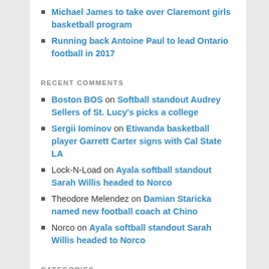Michael James to take over Claremont girls basketball program
Running back Antoine Paul to lead Ontario football in 2017
RECENT COMMENTS
Boston BOS on Softball standout Audrey Sellers of St. Lucy's picks a college
Sergii Iominov on Etiwanda basketball player Garrett Carter signs with Cal State LA
Lock-N-Load on Ayala softball standout Sarah Willis headed to Norco
Theodore Melendez on Damian Staricka named new football coach at Chino
Norco on Ayala softball standout Sarah Willis headed to Norco
CATEGORIES
Select Category